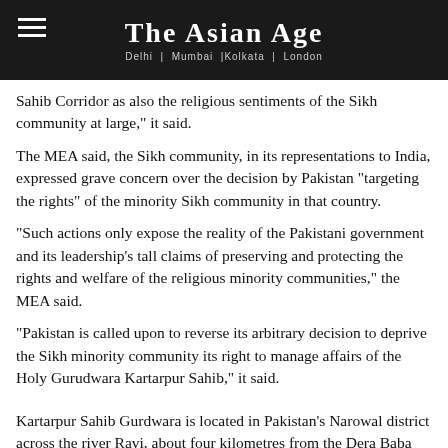THE ASIAN AGE | Delhi | Mumbai | Kolkata | London
Sahib Corridor as also the religious sentiments of the Sikh community at large," it said.
The MEA said, the Sikh community, in its representations to India, expressed grave concern over the decision by Pakistan "targeting the rights" of the minority Sikh community in that country.
"Such actions only expose the reality of the Pakistani government and its leadership's tall claims of preserving and protecting the rights and welfare of the religious minority communities," the MEA said.
"Pakistan is called upon to reverse its arbitrary decision to deprive the Sikh minority community its right to manage affairs of the Holy Gurudwara Kartarpur Sahib," it said.
Kartarpur Sahib Gurdwara is located in Pakistan's Narowal district across the river Ravi, about four kilometres from the Dera Baba Nanak shrine.